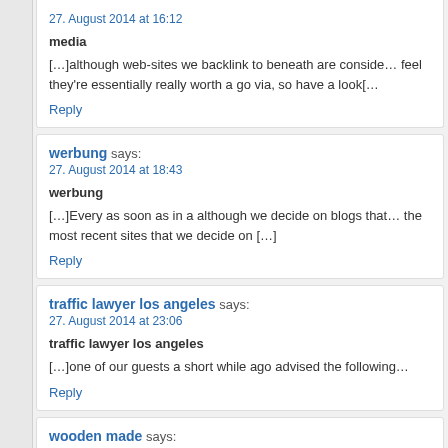27. August 2014 at 16:12
media
[…]although web-sites we backlink to beneath are considered feel they're essentially really worth a go via, so have a look[…
Reply
werbung says: 27. August 2014 at 18:43
werbung
[…]Every as soon as in a although we decide on blogs that the most recent sites that we decide on […]
Reply
traffic lawyer los angeles says: 27. August 2014 at 23:06
traffic lawyer los angeles
[…]one of our guests a short while ago advised the following…
Reply
wooden made says: 27. August 2014 at 23:49